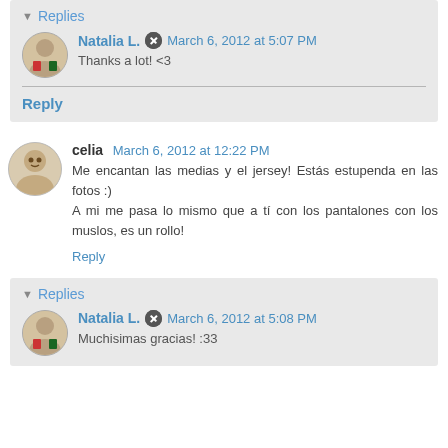Replies
Natalia L. March 6, 2012 at 5:07 PM
Thanks a lot! <3
Reply
celia March 6, 2012 at 12:22 PM
Me encantan las medias y el jersey! Estás estupenda en las fotos :)
A mi me pasa lo mismo que a tí con los pantalones con los muslos, es un rollo!
Reply
Replies
Natalia L. March 6, 2012 at 5:08 PM
Muchisimas gracias! :33